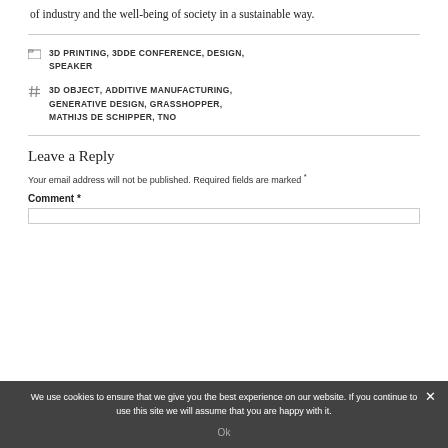of industry and the well-being of society in a sustainable way.
3D PRINTING, 3DDE CONFERENCE, DESIGN, SPEAKER
3D OBJECT, ADDITIVE MANUFACTURING, GENERATIVE DESIGN, GRASSHOPPER, MATHIJS DE SCHIPPER, TNO
Leave a Reply
Your email address will not be published. Required fields are marked *
Comment *
We use cookies to ensure that we give you the best experience on our website. If you continue to use this site we will assume that you are happy with it.